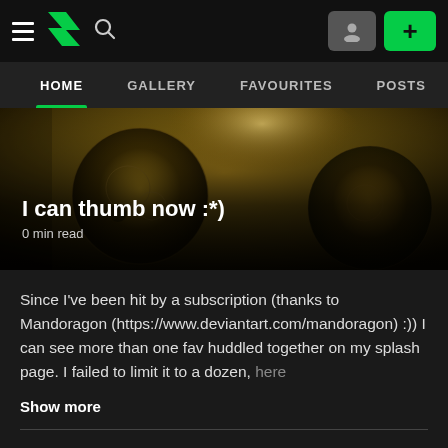DeviantArt navigation: HOME, GALLERY, FAVOURITES, POSTS
[Figure (photo): Hero banner image showing dark golden fractal orbs/spheres with a glowing bokeh background. Overlaid with post title 'I can thumb now :*)' and '0 min read'.]
I can thumb now :*)
0 min read
Since I've been hit by a subscription (thanks to Mandoragon (https://www.deviantart.com/mandoragon) :)) I can see more than one fav huddled together on my splash page. I failed to limit it to a dozen, here
Show more